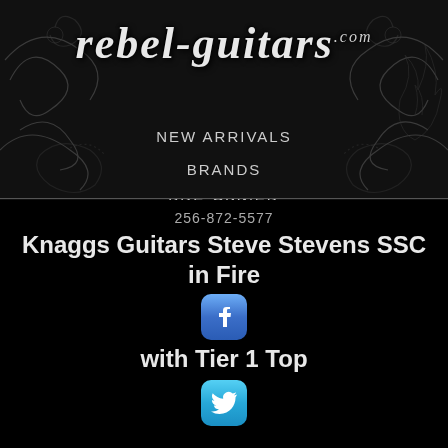[Figure (logo): rebel-guitars.com logo in gothic/script font on dark textured background with tribal/tattoo art]
NEW ARRIVALS
BRANDS
PRE-OWNED
256-872-5577
Knaggs Guitars Steve Stevens SSC in Fire with Tier 1 Top
[Figure (logo): Facebook social media icon - blue rounded square with white F]
[Figure (logo): Twitter social media icon - blue rounded square with white bird]
[Figure (logo): Instagram social media icon - colorful gradient rounded square with camera]
[Figure (logo): YouTube social media icon - white rounded square with YouTube logo]